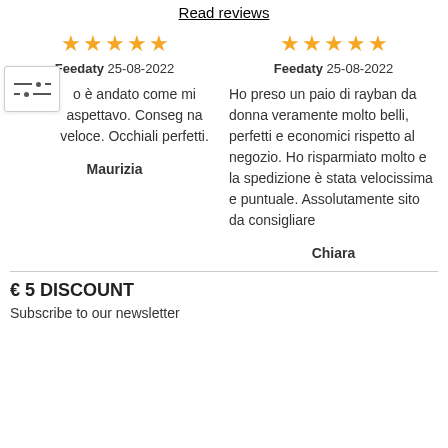Read reviews
★★★★★ Feedaty 25-08-2022 ... o è andato come mi aspettavo. Conseg na veloce. Occhiali perfetti. Maurizia
★★★★★ Feedaty 25-08-2022 Ho preso un paio di rayban da donna veramente molto belli, perfetti e economici rispetto al negozio. Ho risparmiato molto e la spedizione è stata velocissima e puntuale. Assolutamente sito da consigliare Chiara
€ 5 DISCOUNT
Subscribe to our newsletter